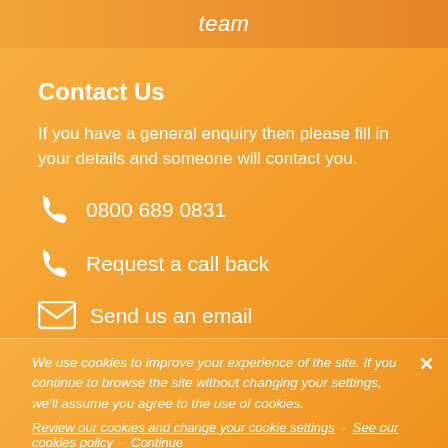team
Contact Us
If you have a general enquiry then please fill in your details and someone will contact you.
0800 689 0831
Request a call back
Send us an email
We use cookies to improve your experience of the site. If you continue to browse the site without changing your settings, we'll assume you agree to the use of cookies.
Review our cookies and change your cookie settings · See our cookies policy · Continue